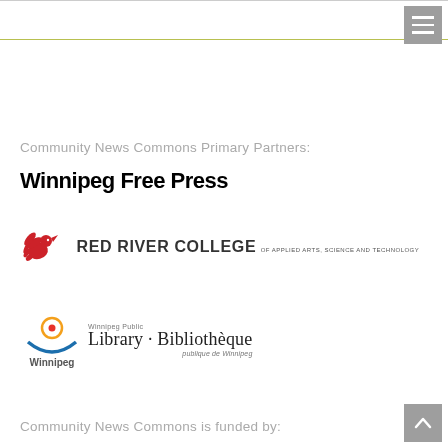Community News Commons Primary Partners:
[Figure (logo): Winnipeg Free Press logo in bold black text]
[Figure (logo): Red River College of Applied Arts, Science and Technology logo with red bird emblem]
[Figure (logo): Winnipeg Public Library · Bibliothèque publique de Winnipeg logo with City of Winnipeg mark]
Community News Commons is funded by: